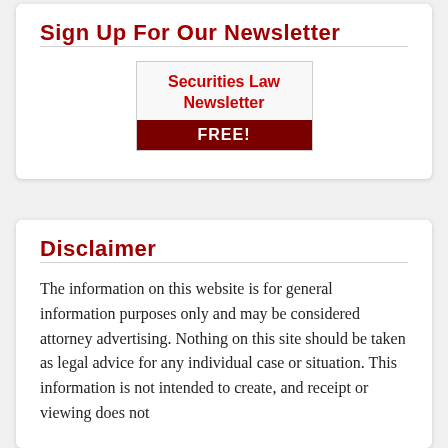Sign Up For Our Newsletter
[Figure (other): Newsletter signup box showing 'Securities Law Newsletter' in red text on a white/grey background with a dark red 'FREE!' bar at the bottom]
Disclaimer
The information on this website is for general information purposes only and may be considered attorney advertising. Nothing on this site should be taken as legal advice for any individual case or situation. This information is not intended to create, and receipt or viewing does not